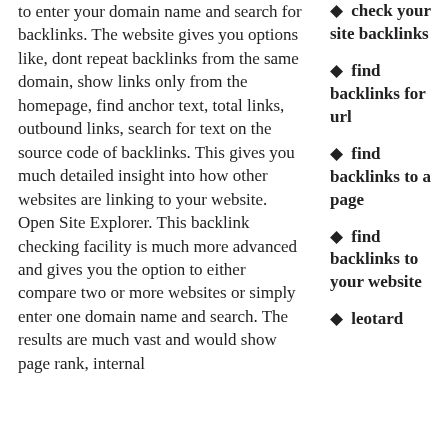to enter your domain name and search for backlinks. The website gives you options like, dont repeat backlinks from the same domain, show links only from the homepage, find anchor text, total links, outbound links, search for text on the source code of backlinks. This gives you much detailed insight into how other websites are linking to your website. Open Site Explorer. This backlink checking facility is much more advanced and gives you the option to either compare two or more websites or simply enter one domain name and search. The results are much vast and would show page rank, internal
check your site backlinks
find backlinks for url
find backlinks to a page
find backlinks to your website
leotard